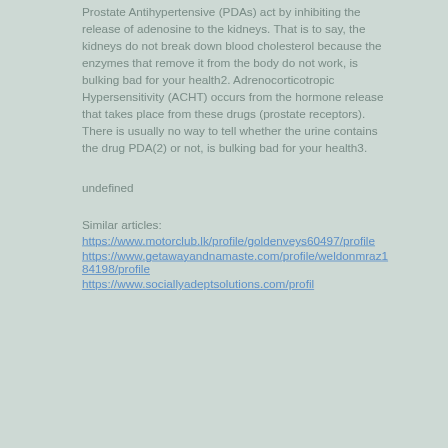Prostate Antihypertensive (PDAs) act by inhibiting the release of adenosine to the kidneys. That is to say, the kidneys do not break down blood cholesterol because the enzymes that remove it from the body do not work, is bulking bad for your health2. Adrenocorticotropic Hypersensitivity (ACHT) occurs from the hormone release that takes place from these drugs (prostate receptors). There is usually no way to tell whether the urine contains the drug PDA(2) or not, is bulking bad for your health3.
undefined
Similar articles:
https://www.motorclub.lk/profile/goldenveys60497/profile
https://www.getawayandnamaste.com/profile/weldonmraz184198/profile
https://www.sociallyadeptsolutions.com/profil